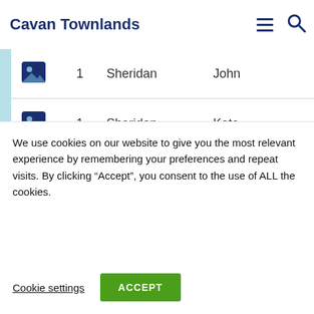Cavan Townlands
| View | House | Surname | Forename |
| --- | --- | --- | --- |
| [image] | 1 | Sheridan | John |
| [image] | 1 | Sheridan | Kate |
| [image] | 1 | Sheridan | Rose |
| [image] | 1 | Sheridan | Patrick |
We use cookies on our website to give you the most relevant experience by remembering your preferences and repeat visits. By clicking “Accept”, you consent to the use of ALL the cookies.
Cookie settings  ACCEPT